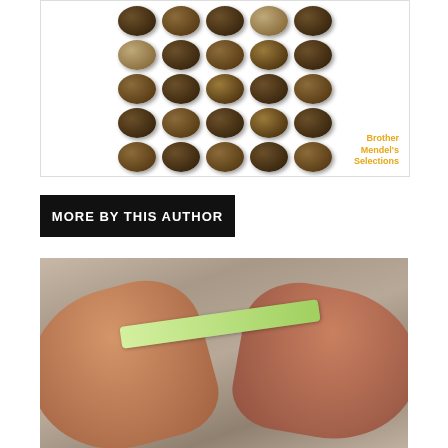[Figure (photo): Grid of cannabis seeds arranged in rows against a white background, with 'Brother Mendel's Selections' text in orange/gold in the bottom right corner]
MORE BY THIS AUTHOR
[Figure (photo): Close-up photograph of two hands exchanging or handling what appears to be money or a card, with a grey background]